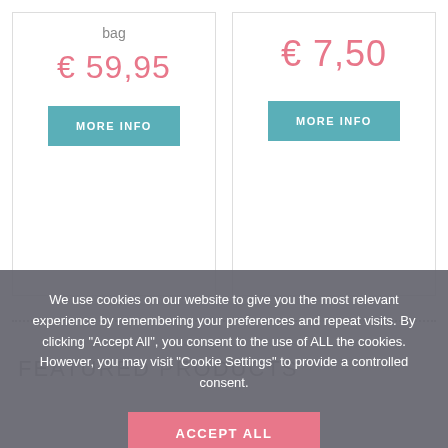bag
€ 59,95
MORE INFO
€ 7,50
MORE INFO
FEATURED PRODUCTS
We use cookies on our website to give you the most relevant experience by remembering your preferences and repeat visits. By clicking "Accept All", you consent to the use of ALL the cookies. However, you may visit "Cookie Settings" to provide a controlled consent.
ACCEPT ALL
Cookie Settings - Cookie policy